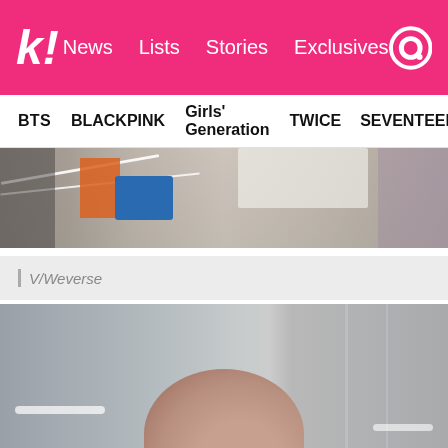k! News Lists Stories Exclusives
BTS BLACKPINK Girls' Generation TWICE SEVENTEEN
[Figure (photo): Top portion of a photo showing a cluttered desk or table with various items including a blue container, orange object, white tray, and wires/cables]
| V/Weverse
[Figure (photo): A selfie photo showing a person's head/forehead from above at an angle, with ceiling lights and wall visible in background]